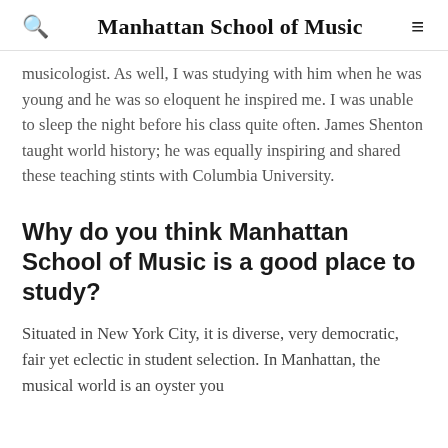Manhattan School of Music
musicologist. As well, I was studying with him when he was young and he was so eloquent he inspired me. I was unable to sleep the night before his class quite often. James Shenton taught world history; he was equally inspiring and shared these teaching stints with Columbia University.
Why do you think Manhattan School of Music is a good place to study?
Situated in New York City, it is diverse, very democratic, fair yet eclectic in student selection. In Manhattan, the musical world is an oyster you